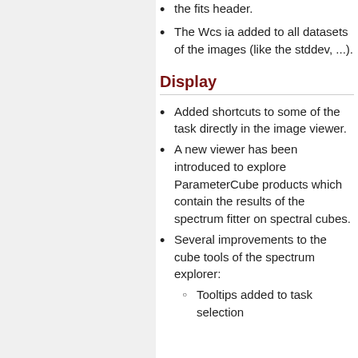the fits header.
The Wcs ia added to all datasets of the images (like the stddev, ...).
Display
Added shortcuts to some of the task directly in the image viewer.
A new viewer has been introduced to explore ParameterCube products which contain the results of the spectrum fitter on spectral cubes.
Several improvements to the cube tools of the spectrum explorer:
Tooltips added to task selection